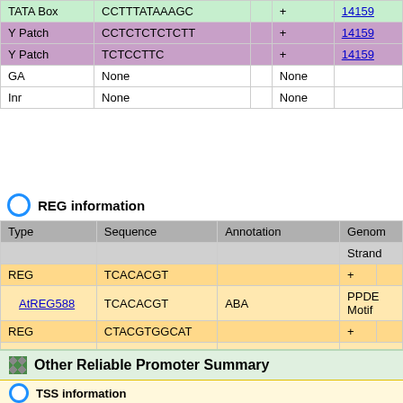| Type | Sequence | Annotation | Strand | Genom... |
| --- | --- | --- | --- | --- |
| TATA Box | CCTTTATAAAGC | + | 14159... |
| Y Patch | CCTCTCTCTCTT | + | 14159... |
| Y Patch | TCTCCTTC | + | 14159... |
| GA | None | None |  |
| Inr | None | None |  |
REG information
| Type | Sequence | Annotation | Strand | Genom... |
| --- | --- | --- | --- | --- |
| REG | TCACACGT |  | + |  |
| AtREG588 | TCACACGT | ABA | PPDE... Motif |
| REG | CTACGTGGCAT |  | + |  |
| AtREG495 | CTACGTGG |  | PPDE... Motif |
| AtREG413 | TACGTGGC |  | PPDE... Motif |
| AtREG379 | ACGTGGCA | ABA | PPDE... Motif |
| AtREG448 | CGTGGCAT | ABA, DREB1Aox | PPDE... Motif |
Other Reliable Promoter Summary
TSS information